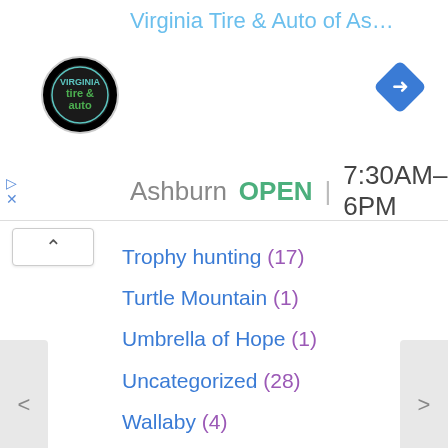Virginia Tire & Auto of Ashburn ...
Ashburn  OPEN  7:30AM–6PM
Trophy hunting (17)
Turtle Mountain (1)
Umbrella of Hope (1)
Uncategorized (28)
Wallaby (4)
wildlife (22)
Wildlife Rescue (588)
Wolf-hybrid (6)
Wolf-hybrids (4)
Zoos (105)